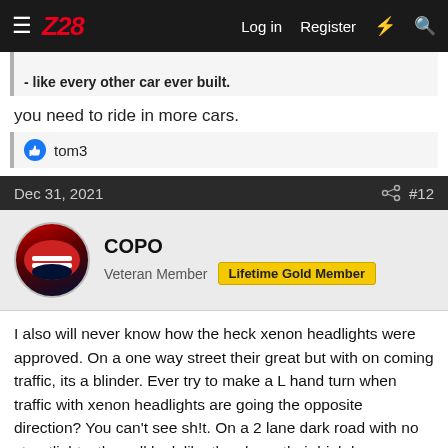Z28 — Log in  Register
- like every other car ever built.
you need to ride in more cars.
👍 tom3
Dec 31, 2021  #12
COPO
Veteran Member  Lifetime Gold Member
I also will never know how the heck xenon headlights were approved. On a one way street their great but with on coming traffic, its a blinder. Ever try to make a L hand turn when traffic with xenon headlights are going the opposite direction? You can't see sh!t. On a 2 lane dark road with no streetlights, they all look like they have their high beams on when driving towards